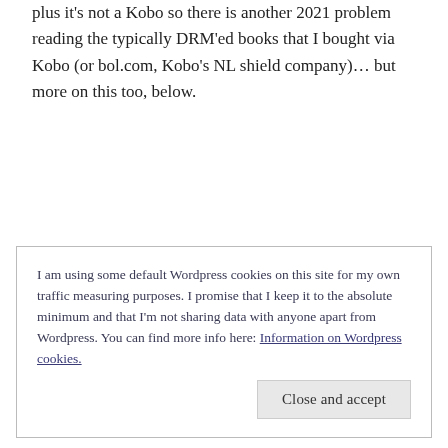plus it's not a Kobo so there is another 2021 problem reading the typically DRM'ed books that I bought via Kobo (or bol.com, Kobo's NL shield company)… but more on this too, below.
I am using some default Wordpress cookies on this site for my own traffic measuring purposes. I promise that I keep it to the absolute minimum and that I'm not sharing data with anyone apart from Wordpress. You can find more info here: Information on Wordpress cookies.